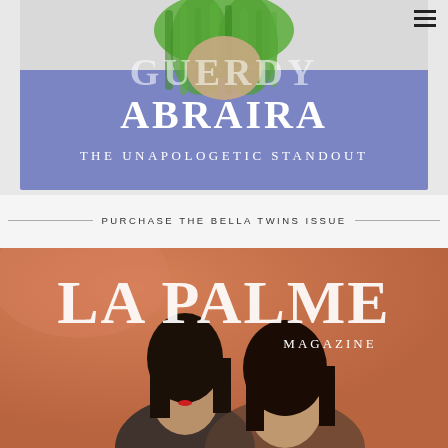[Figure (photo): Magazine banner showing Guerdy Abraira with bright green hair against a purple/blue background, with text overlay reading GUERDY ABRAIRA THE UNAPOLOGETIC STANDOUT]
PURCHASE THE BELLA TWINS ISSUE
[Figure (photo): La Palme Magazine cover featuring two women (The Bella Twins) against an orange/terracotta background, with the magazine logo LA PALME MAGAZINE in large white serif letters]